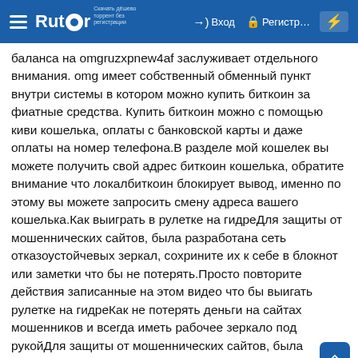Rutor — Вход | Регистр...
баланса на omgruzxpnew4af заслуживает отдельного внимания. omg имеет собственный обменный пункт внутри системы в котором можно купить биткоин за фиатные средства. Купить биткоин можно с помощью киви кошелька, оплаты с банковской карты и даже оплаты на номер телефона.В разделе мой кошелек вы можете получить свой адрес биткоин кошелька, обратите внимание что локалбиткоин блокирует вывод, именно по этому вы можете запросить смену адреса вашего кошелька.Как выиграть в рулетке на гидреДля защиты от мошеннических сайтов, была разработана сеть отказоустойчевых зеркал, сохрините их к себе в блокнот или заметки что бы не потерять.Просто повторите действия записанные на этом видео что бы выигать рулетке на гидреКак не потерять деньги на сайтах мошенников и всегда иметь рабочее зеркало под рукойДля защиты от мошеннических сайтов, была разработана сеть отказоустойчевых зеркал, сохрините их к себе в блокнот или заметки что бы не потерять.Чтобы не попасть на мошеннические сайты сохрани ссылку